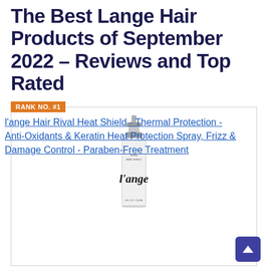The Best Lange Hair Products of September 2022 – Reviews and Top Rated
RANK NO. #1
[Figure (photo): l'ange hair spray bottle product photo on white background, with brand name l'ange on label]
l'ange Hair Rival Heat Shield - Thermal Protection - Anti-Oxidants & Keratin Heat Protection Spray, Frizz & Damage Control - Paraben-Free Treatment